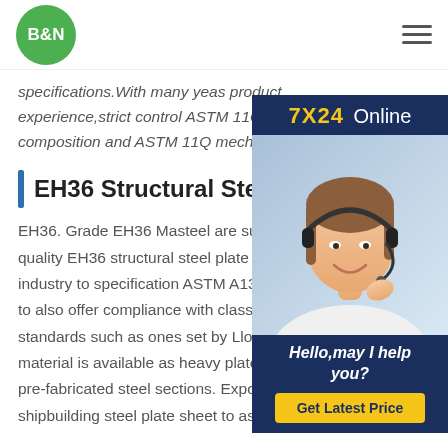B&N
specifications.With many yeas product... experience,strict control ASTM 11Q ch... composition and ASTM 11Q mechanic...
[Figure (photo): 7X24 Online chat widget with customer service representative wearing headset, with 'Hello,may I help you?' text and 'Get Latest Price' button]
EH36 Structural Steel Plate
EH36. Grade EH36 Masteel are suppli... quality EH36 structural steel plate to th... industry to specification ASTM A131 Part 4. We able to also offer compliance with classification society standards such as ones set by Lloyds Register. The material is available as heavy plates or sheets and pre-fabricated steel sections. Export ASTM A131 D shipbuilding steel plate sheet to astm a131 grob36